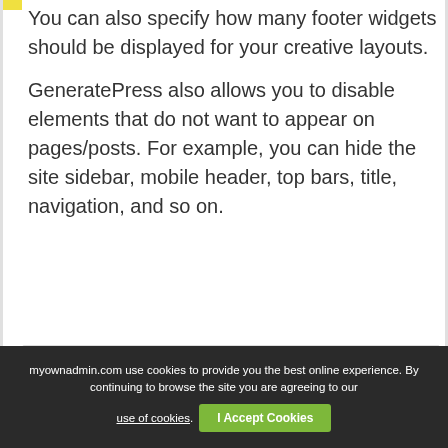You can also specify how many footer widgets should be displayed for your creative layouts.
GeneratePress also allows you to disable elements that do not want to appear on pages/posts. For example, you can hide the site sidebar, mobile header, top bars, title, navigation, and so on.
[Figure (other): Featured Article box from MyOwnAdmin.com with orange header and white body showing 'Check out "Wealthy Affiliate Review" a']
myownadmin.com use cookies to provide you the best online experience. By continuing to browse the site you are agreeing to our use of cookies. I Accept Cookies